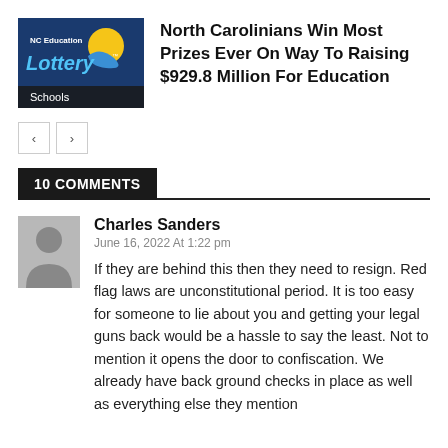[Figure (logo): NC Education Lottery logo with 'Schools' label on dark blue background]
North Carolinians Win Most Prizes Ever On Way To Raising $929.8 Million For Education
< >
10 COMMENTS
[Figure (photo): Generic grey user avatar silhouette]
Charles Sanders
June 16, 2022 At 1:22 pm
If they are behind this then they need to resign. Red flag laws are unconstitutional period. It is too easy for someone to lie about you and getting your legal guns back would be a hassle to say the least. Not to mention it opens the door to confiscation. We already have back ground checks in place as well as everything else they mention